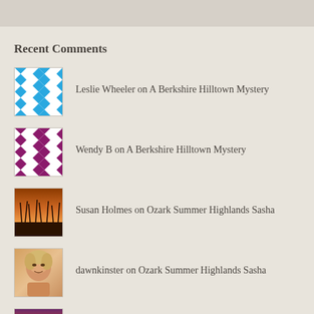Recent Comments
Leslie Wheeler on A Berkshire Hilltown Mystery
Wendy B on A Berkshire Hilltown Mystery
Susan Holmes on Ozark Summer Highlands Sasha
dawnkinster on Ozark Summer Highlands Sasha
Susan Holmes on Land Schemes and Scoundrels